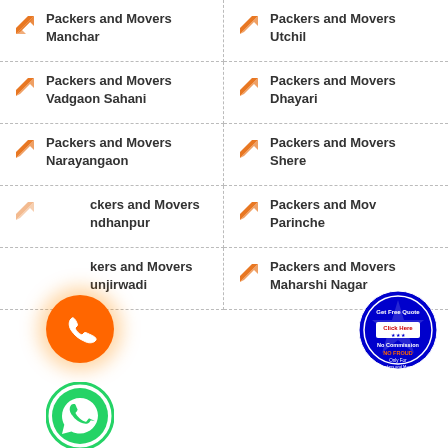Packers and Movers Manchar
Packers and Movers Utchil
Packers and Movers Vadgaon Sahani
Packers and Movers Dhayari
Packers and Movers Narayangaon
Packers and Movers Shere
Packers and Movers Pandhanpur
Packers and Movers Parinche
Packers and Movers Kunjirwadi
Packers and Movers Maharshi Nagar
[Figure (illustration): Orange phone icon circle with glow]
[Figure (illustration): WhatsApp green phone icon circle]
[Figure (logo): Get Free Quote Click Here No Commission No Fraud badge]